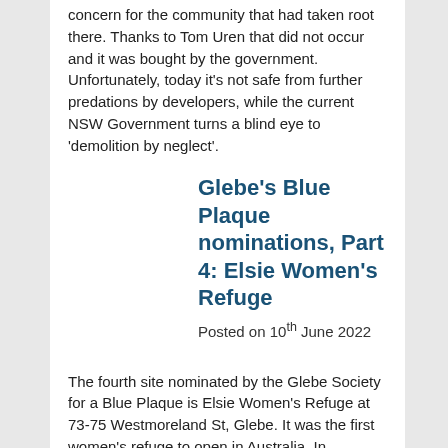concern for the community that had taken root there. Thanks to Tom Uren that did not occur and it was bought by the government. Unfortunately, today it's not safe from further predations by developers, while the current NSW Government turns a blind eye to 'demolition by neglect'.
Glebe's Blue Plaque nominations, Part 4: Elsie Women's Refuge
Posted on 10th June 2022
The fourth site nominated by the Glebe Society for a Blue Plaque is Elsie Women's Refuge at 73-75 Westmoreland St, Glebe. It was the first women's refuge to open in Australia. In September 2021 the NSW Government called for communities to nominate places linked to notable personalities and events for recognition as part of the NSW Blue Plaques program